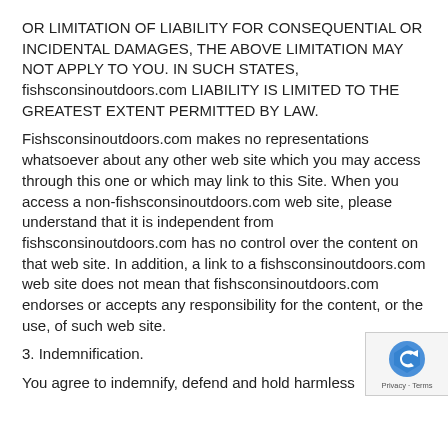OR LIMITATION OF LIABILITY FOR CONSEQUENTIAL OR INCIDENTAL DAMAGES, THE ABOVE LIMITATION MAY NOT APPLY TO YOU. IN SUCH STATES, fishsconsinoutdoors.com LIABILITY IS LIMITED TO THE GREATEST EXTENT PERMITTED BY LAW.
Fishsconsinoutdoors.com makes no representations whatsoever about any other web site which you may access through this one or which may link to this Site. When you access a non-fishsconsinoutdoors.com web site, please understand that it is independent from fishsconsinoutdoors.com has no control over the content on that web site. In addition, a link to a fishsconsinoutdoors.com web site does not mean that fishsconsinoutdoors.com endorses or accepts any responsibility for the content, or the use, of such web site.
3. Indemnification.
You agree to indemnify, defend and hold harmless